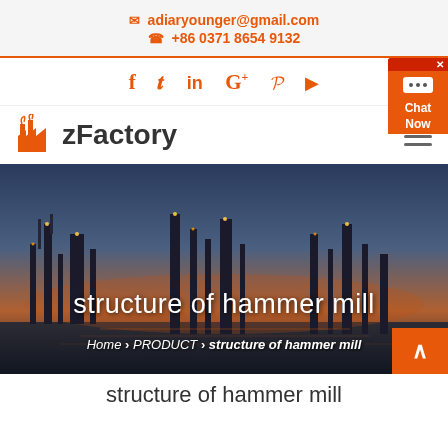adiaryounger@gmail.com  +86 0371 8654 9132
[Figure (other): Social media icons: Facebook, Twitter, LinkedIn, Google+, Pinterest, YouTube]
[Figure (logo): zFactory logo with orange factory icon and bold text 'zFactory']
[Figure (photo): Industrial factory/refinery at dusk with text overlay 'structure of hammer mill' and breadcrumb 'Home > PRODUCT > structure of hammer mill']
structure of hammer mill
Home > PRODUCT > structure of hammer mill